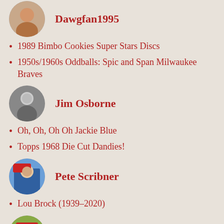Dawgfan1995
1989 Bimbo Cookies Super Stars Discs
1950s/1960s Oddballs: Spic and Span Milwaukee Braves
Jim Osborne
Oh, Oh, Oh Oh Jackie Blue
Topps 1968 Die Cut Dandies!
Pete Scribner
Lou Brock (1939–2020)
phungo2008